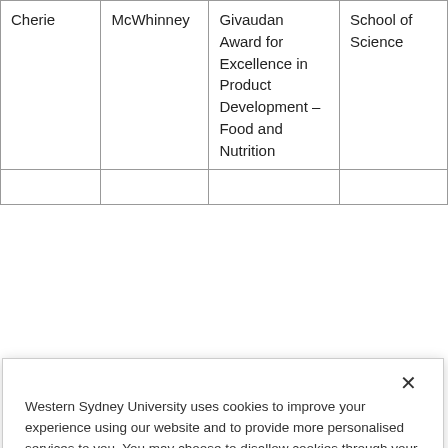| Cherie | McWhinney | Givaudan Award for Excellence in Product Development – Food and Nutrition | School of Science |
|  |  |  |  |
Western Sydney University uses cookies to improve your experience using our website and to provide more personalised services to you. You may choose to disallow cookies through your web browser settings, however this may result in a less optimal experience with Western. To find out more about the way Western Sydney University handles your personal information, see our Privacy Policy and Privacy Management Plan.